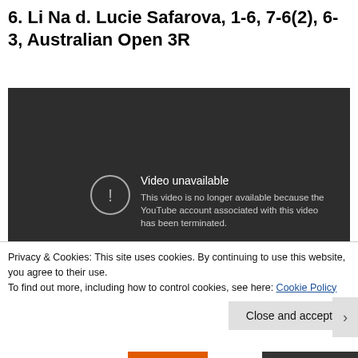6. Li Na d. Lucie Safarova, 1-6, 7-6(2), 6-3, Australian Open 3R
[Figure (screenshot): Embedded YouTube video player showing 'Video unavailable' error message. Dark background with circular exclamation icon and text: 'Video unavailable. This video is no longer available because the YouTube account associated with this video has been terminated.']
Privacy & Cookies: This site uses cookies. By continuing to use this website, you agree to their use.
To find out more, including how to control cookies, see here: Cookie Policy
Close and accept